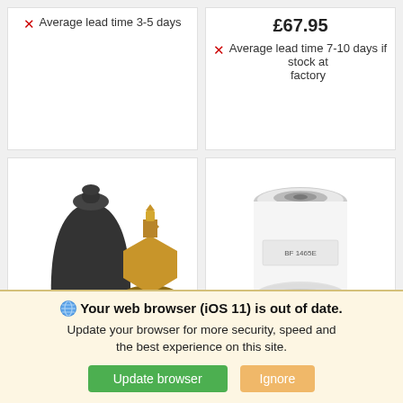✗ Average lead time 3-5 days
£67.95
✗ Average lead time 7-10 days if stock at factory
[Figure (photo): Pressure switch product showing black rubber boot and brass sender unit]
[Figure (photo): White cylindrical oil filter with BF label]
Your web browser (iOS 11) is out of date. Update your browser for more security, speed and the best experience on this site.